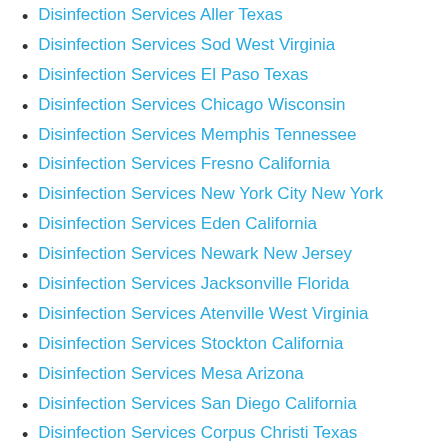Disinfection Services Aller Texas
Disinfection Services Sod West Virginia
Disinfection Services El Paso Texas
Disinfection Services Chicago Wisconsin
Disinfection Services Memphis Tennessee
Disinfection Services Fresno California
Disinfection Services New York City New York
Disinfection Services Eden California
Disinfection Services Newark New Jersey
Disinfection Services Jacksonville Florida
Disinfection Services Atenville West Virginia
Disinfection Services Stockton California
Disinfection Services Mesa Arizona
Disinfection Services San Diego California
Disinfection Services Corpus Christi Texas
Disinfection Services Philadelphia Pennsylvania
Disinfection Services Toledo Ohio